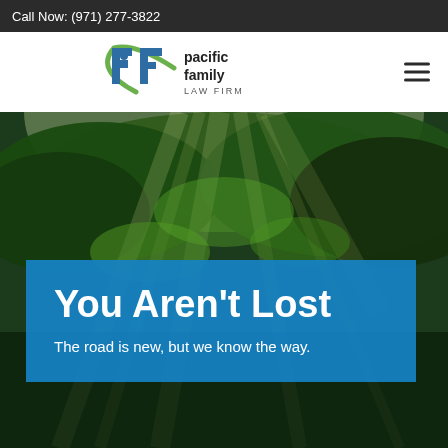Call Now: (971) 277-3822
[Figure (logo): Pacific Family Law Firm logo with stylized PF letters in blue and green swoosh, plus hamburger menu icon]
[Figure (photo): Forest scene with sunlight rays streaming through green trees from above]
You Aren't Lost
The road is new, but we know the way.